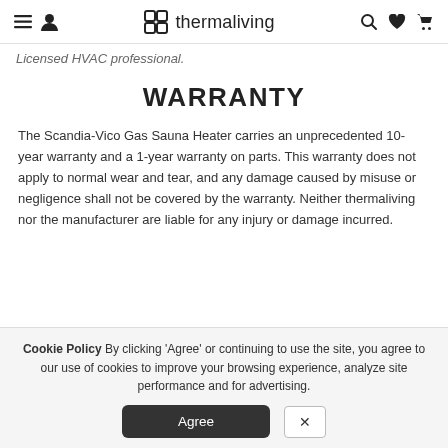thermaliving — navigation bar with menu, user, search, wishlist, cart icons
Licensed HVAC professional.
WARRANTY
The Scandia-Vico Gas Sauna Heater carries an unprecedented 10-year warranty and a 1-year warranty on parts. This warranty does not apply to normal wear and tear, and any damage caused by misuse or negligence shall not be covered by the warranty. Neither thermaliving nor the manufacturer are liable for any injury or damage incurred.
Cookie Policy By clicking 'Agree' or continuing to use the site, you agree to our use of cookies to improve your browsing experience, analyze site performance and for advertising.